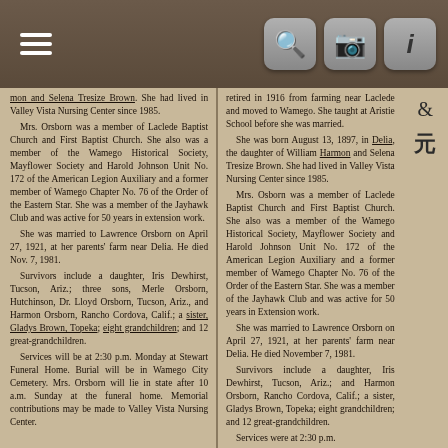Toolbar with hamburger menu and search/camera/info icons
mon and Selena Tresize Brown. She had lived in Valley Vista Nursing Center since 1985.

Mrs. Orsborn was a member of Laclede Baptist Church and First Baptist Church. She also was a member of the Wamego Historical Society, Mayflower Society and Harold Johnson Unit No. 172 of the American Legion Auxiliary and a former member of Wamego Chapter No. 76 of the Order of the Eastern Star. She was a member of the Jayhawk Club and was active for 50 years in extension work.

She was married to Lawrence Orsborn on April 27, 1921, at her parents' farm near Delia. He died Nov. 7, 1981.

Survivors include a daughter, Iris Dewhirst, Tucson, Ariz.; three sons, Merle Orsborn, Hutchinson, Dr. Lloyd Orsborn, Tucson, Ariz., and Harmon Orsborn, Rancho Cordova, Calif.; a sister, Gladys Brown, Topeka; eight grandchildren; and 12 great-grandchildren.

Services will be at 2:30 p.m. Monday at Stewart Funeral Home. Burial will be in Wamego City Cemetery. Mrs. Orsborn will lie in state after 10 a.m. Sunday at the funeral home. Memorial contributions may be made to Valley Vista Nursing Center.
retired in 1916 from farming near Laclede and moved to Wamego. She taught at Aristie School before she was married.

She was born August 13, 1897, in Delia, the daughter of William Harmon and Selena Tresize Brown. She had lived in Valley Vista Nursing Center since 1985.

Mrs. Osborn was a member of Laclede Baptist Church and First Baptist Church. She also was a member of the Wamego Historical Society, Mayflower Society and Harold Johnson Unit No. 172 of the American Legion Auxiliary and a former member of Wamego Chapter No. 76 of the Order of the Eastern Star. She was a member of the Jayhawk Club and was active for 50 years in Extension work.

She was married to Lawrence Orsborn on April 27, 1921, at her parents' farm near Delia. He died November 7, 1981.

Survivors include a daughter, Iris Dewhirst, Tucson, Ariz.; and Harmon Orsborn, Rancho Cordova, Calif.; a sister, Gladys Brown, Topeka; eight grandchildren; and 12 great-grandchildren.

Services were at 2:30 p.m.